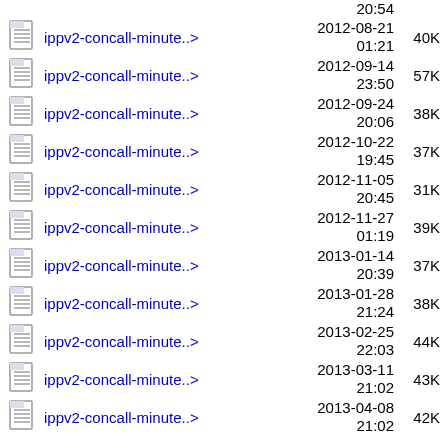ippv2-concall-minute..> 2012-08-21 01:21 40K
ippv2-concall-minute..> 2012-09-14 23:50 57K
ippv2-concall-minute..> 2012-09-24 20:06 38K
ippv2-concall-minute..> 2012-10-22 19:45 37K
ippv2-concall-minute..> 2012-11-05 20:45 31K
ippv2-concall-minute..> 2012-11-27 01:19 39K
ippv2-concall-minute..> 2013-01-14 20:39 37K
ippv2-concall-minute..> 2013-01-28 21:24 38K
ippv2-concall-minute..> 2013-02-25 22:03 44K
ippv2-concall-minute..> 2013-03-11 21:02 43K
ippv2-concall-minute..> 2013-04-08 21:02 42K